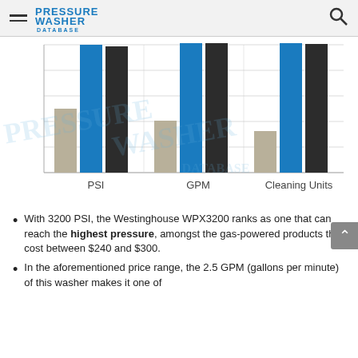Pressure Washer Database
[Figure (grouped-bar-chart): PSI / GPM / Cleaning Units comparison]
With 3200 PSI, the Westinghouse WPX3200 ranks as one that can reach the highest pressure, amongst the gas-powered products that cost between $240 and $300.
In the aforementioned price range, the 2.5 GPM (gallons per minute) of this washer makes it one of